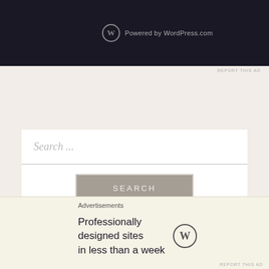[Figure (screenshot): Dark banner with WordPress.com logo and 'Powered by WordPress.com' text]
REPORT THIS AD
[Figure (screenshot): Search box with placeholder text 'Search ...' and a SEARCH button]
RECENT POSTS
The Most Accessible Person in the Universe
Advertisements
[Figure (screenshot): WordPress.com advertisement: 'Professionally designed sites in less than a week' with WordPress logo]
REPORT THIS AD